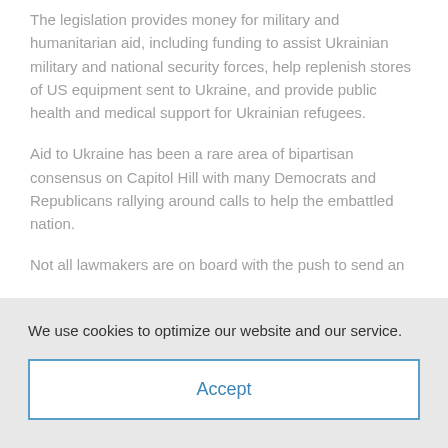The legislation provides money for military and humanitarian aid, including funding to assist Ukrainian military and national security forces, help replenish stores of US equipment sent to Ukraine, and provide public health and medical support for Ukrainian refugees.
Aid to Ukraine has been a rare area of bipartisan consensus on Capitol Hill with many Democrats and Republicans rallying around calls to help the embattled nation.
Not all lawmakers are on board with the push to send an
We use cookies to optimize our website and our service.
Accept